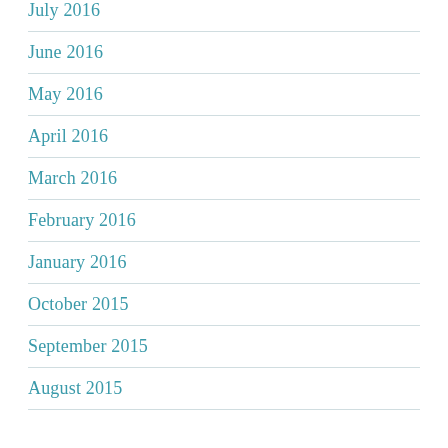July 2016
June 2016
May 2016
April 2016
March 2016
February 2016
January 2016
October 2015
September 2015
August 2015